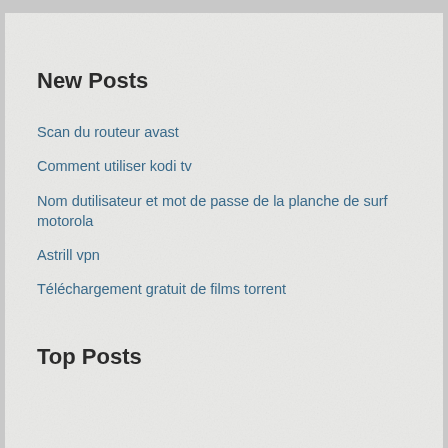New Posts
Scan du routeur avast
Comment utiliser kodi tv
Nom dutilisateur et mot de passe de la planche de surf motorola
Astrill vpn
Téléchargement gratuit de films torrent
Top Posts